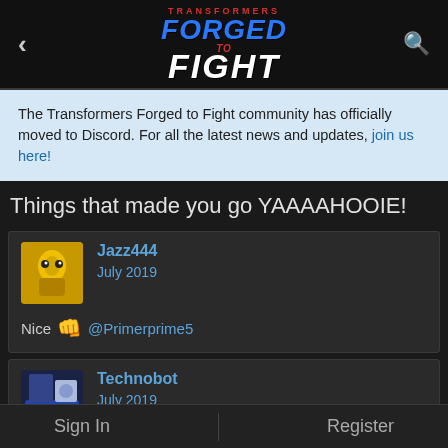Transformers Forged to Fight
The Transformers Forged to Fight community has officially moved to Discord. For all the latest news and updates, join us here!
Things that made you go YAAAAHOOIE!
Jazz444
July 2019
Nice 👊 @Primerprime5
Technobot
July 2019
Sign In    Register